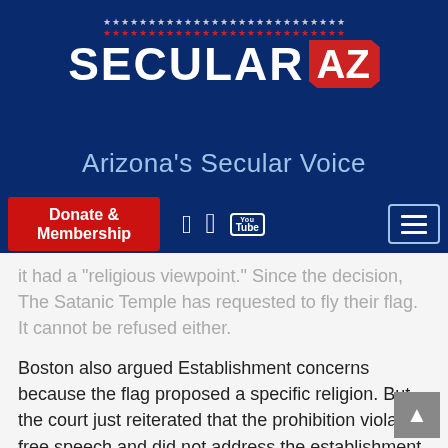[Figure (logo): Secular AZ logo with stars row above text, 'SECULAR' in white bold letters and 'AZ' in red block shape, on dark blue background]
Arizona's Secular Voice
[Figure (screenshot): Navigation bar with red Donate & Membership button, Facebook, Twitter, YouTube social icons, and hamburger menu button on dark blue background]
it had a 'religious viewpoint.' Since the decision, The Satanic Temple has requested to fly their flag. It cannot be refused either.
Boston also argued Establishment concerns because the flag proposed a specific religion. But the court just reiterated that the prohibition violated free speech and did not address the establishment issue.
The city's lack of control over the entire event was the Achilles heel. They had no